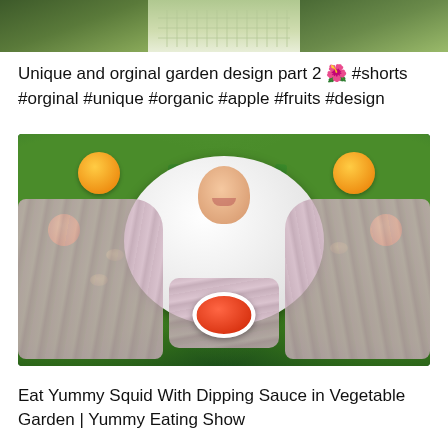[Figure (photo): Top partial photo showing a garden scene with green plants and stone pathway tiles]
Unique and orginal garden design part 2 🌺 #shorts #orginal #unique #organic #apple #fruits #design
[Figure (photo): Photo of a large platter of squid with dipping sauce and fresh vegetables including lettuce, carrots, celery, and cucumbers. A woman's face is visible in the center background among the greens.]
Eat Yummy Squid With Dipping Sauce in Vegetable Garden | Yummy Eating Show